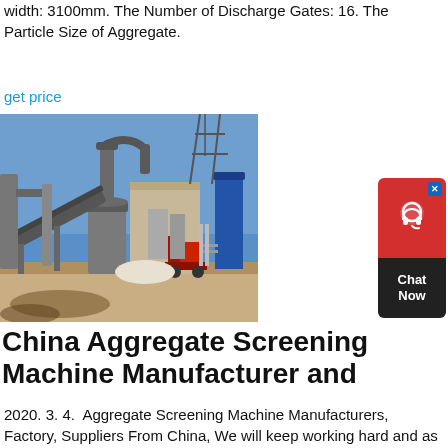width: 3100mm. The Number of Discharge Gates: 16. The Particle Size of Aggregate.
get price
[Figure (photo): Outdoor industrial aggregate screening and processing facility with conveyor belts, a large cylindrical grinder/mill machine, silos, and a forklift in the background under a blue sky.]
[Figure (other): Chat Now widget button with red top section containing a headset icon and blue close button, and dark bottom section with 'Chat Now' text.]
China Aggregate Screening Machine Manufacturer and
2020. 3. 4.  Aggregate Screening Machine Manufacturers, Factory, Suppliers From China, We will keep working hard and as we try our best to supply the best quality products, most competitive price and excellent service to every customer. Your satisfaction, our glory!!!